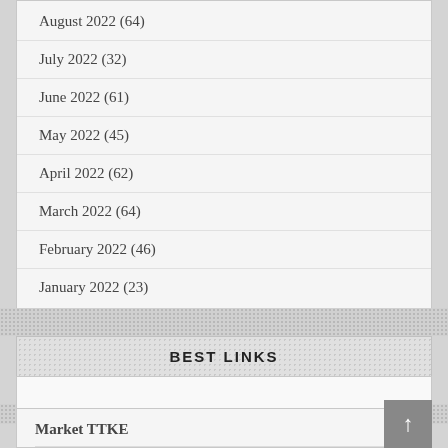August 2022 (64)
July 2022 (32)
June 2022 (61)
May 2022 (45)
April 2022 (62)
March 2022 (64)
February 2022 (46)
January 2022 (23)
BEST LINKS
Market TTKE
Vo Kino